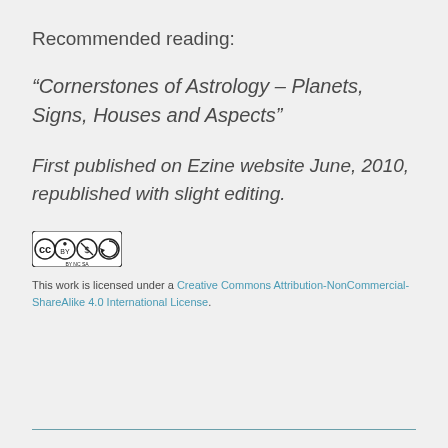Recommended reading:
“Cornerstones of Astrology – Planets, Signs, Houses and Aspects”
First published on Ezine website June, 2010, republished with slight editing.
[Figure (logo): Creative Commons BY-NC-SA license logo]
This work is licensed under a Creative Commons Attribution-NonCommercial-ShareAlike 4.0 International License.